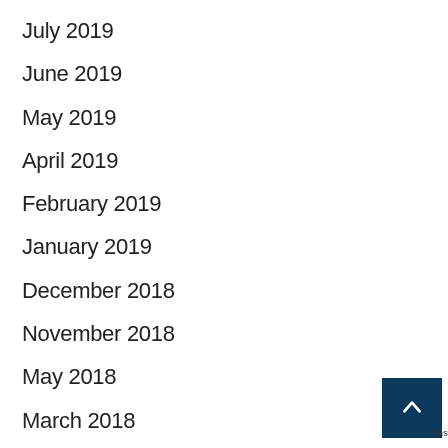July 2019
June 2019
May 2019
April 2019
February 2019
January 2019
December 2018
November 2018
May 2018
March 2018
January 2018
November 2017
October 2017